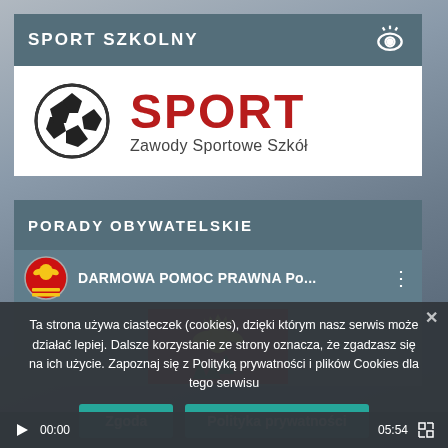SPORT SZKOLNY
[Figure (logo): Soccer ball icon and SPORT Zawody Sportowe Szkół logo on white background]
PORADY OBYWATELSKIE
[Figure (screenshot): Video entry: red/white city coat of arms circle icon, title DARMOWA POMOC PRAWNA Po... with three-dot menu]
[Figure (photo): Thumbnail of a heraldic coat of arms with eagle and trees on red background]
Ta strona używa ciasteczek (cookies), dzięki którym nasz serwis może działać lepiej. Dalsze korzystanie ze strony oznacza, że zgadzasz się na ich użycie. Zapoznaj się z Polityką prywatności i plików Cookies dla tego serwisu
Zgoda
Polityka prywatności
00:00
05:54